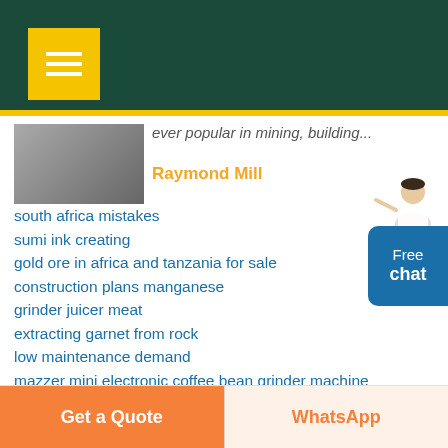[Navigation header with menu]
ever popular in mining, building...
Raymond Mill
south africa mistakes
sumi ink creating
gold ore in africa and tanzania for sale
construction plans manganese
grinder juicer meat
extracting garnet from rock
low maintenance demand
mazzer mini electronic coffee bean grinder machine
crushing plant ecuador
iron oxide synthetic
stump grinder northstar
crushing plant foundation
crusher adopts perfect
Get a Quote | WhatsApp